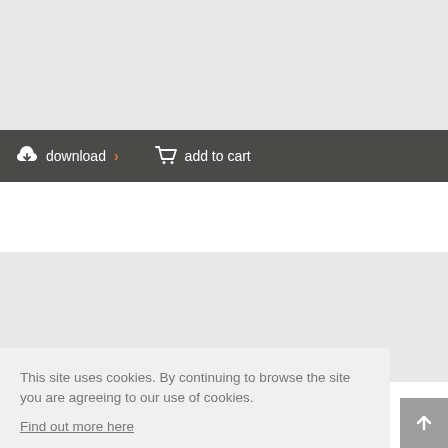[Figure (screenshot): Light gray product image placeholder area]
download > add to cart
[Figure (screenshot): Audio player area with speaker/volume icon on the right]
This site uses cookies. By continuing to browse the site you are agreeing to our use of cookies. Find out more here
Disable cookies
Allow cookies